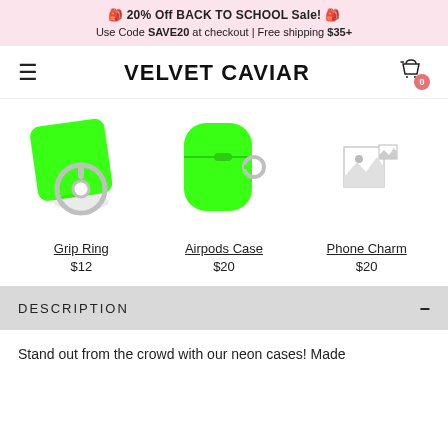🎒 20% Off BACK TO SCHOOL Sale! 🎒
Use Code SAVE20 at checkout | Free shipping $35+
VELVET CAVIAR
[Figure (other): Neon green grip ring product image]
Grip Ring
$12
[Figure (other): Neon green AirPods case product image]
Airpods Case
$20
[Figure (other): Phone Charm product image (broken/unavailable)]
Phone Charm
$20
DESCRIPTION
Stand out from the crowd with our neon cases! Made